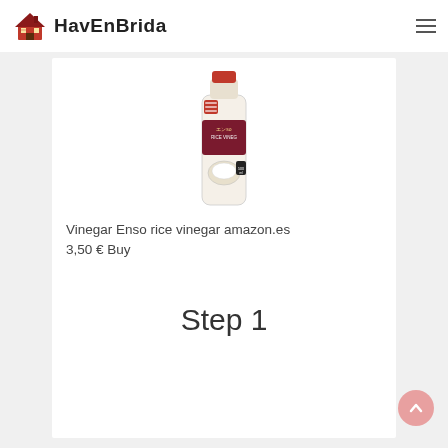HavEnBrida
[Figure (photo): Bottle of Enso rice vinegar product photo]
Vinegar Enso rice vinegar amazon.es
3,50 € Buy
Step 1